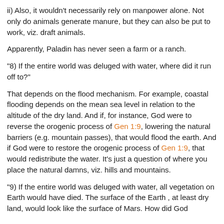ii) Also, it wouldn't necessarily rely on manpower alone. Not only do animals generate manure, but they can also be put to work, viz. draft animals.
Apparently, Paladin has never seen a farm or a ranch.
"8) If the entire world was deluged with water, where did it run off to?"
That depends on the flood mechanism. For example, coastal flooding depends on the mean sea level in relation to the altitude of the dry land. And if, for instance, God were to reverse the orogenic process of Gen 1:9, lowering the natural barriers (e.g. mountain passes), that would flood the earth. And if God were to restore the orogenic process of Gen 1:9, that would redistribute the water. It's just a question of where you place the natural damns, viz. hills and mountains.
"9) If the entire world was deluged with water, all vegetation on Earth would have died. The surface of the Earth , at least dry land, would look like the surface of Mars. How did God